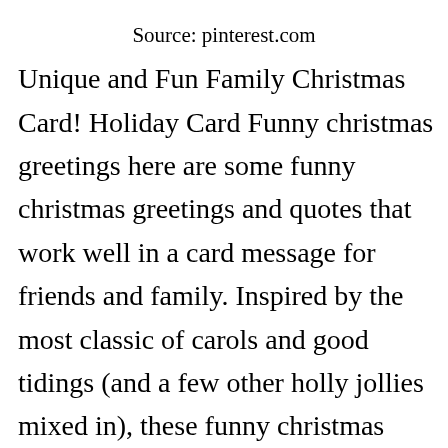Source: pinterest.com
Unique and Fun Family Christmas Card! Holiday Card Funny christmas greetings here are some funny christmas greetings and quotes that work well in a card message for friends and family. Inspired by the most classic of carols and good tidings (and a few other holly jollies mixed in), these funny christmas wishes for cards give new meaning to holiday greetings. Christmas greetings 2020 are of great